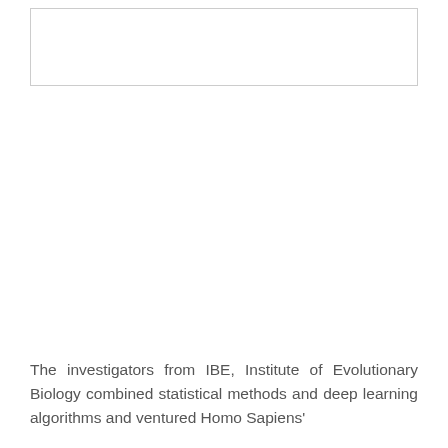[Figure (other): Empty white box with a thin border, likely a figure placeholder or image area at the top of the page.]
The investigators from IBE, Institute of Evolutionary Biology combined statistical methods and deep learning algorithms and ventured Homo Sapiens'